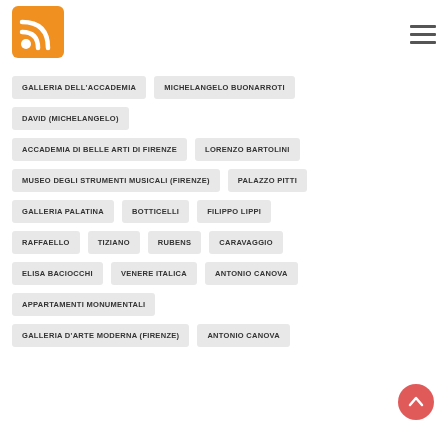[Figure (logo): RSS feed orange logo icon]
GALLERIA DELL'ACCADEMIA
MICHELANGELO BUONARROTI
DAVID (MICHELANGELO)
ACCADEMIA DI BELLE ARTI DI FIRENZE
LORENZO BARTOLINI
MUSEO DEGLI STRUMENTI MUSICALI (FIRENZE)
PALAZZO PITTI
GALLERIA PALATINA
BOTTICELLI
FILIPPO LIPPI
RAFFAELLO
TIZIANO
RUBENS
CARAVAGGIO
ELISA BACIOCCHI
VENERE ITALICA
ANTONIO CANOVA
APPARTAMENTI MONUMENTALI
GALLERIA D'ARTE MODERNA (FIRENZE)
ANTONIO CANOVA